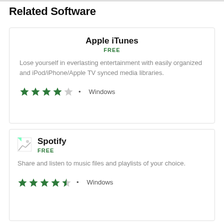Related Software
Apple iTunes
FREE
Lose yourself in everlasting entertainment with easily organized and iPod/iPhone/Apple TV synced media libraries.
★★★★☆ • Windows
Spotify
FREE
Share and listen to music files and playlists of your choice.
★★★★½ • Windows